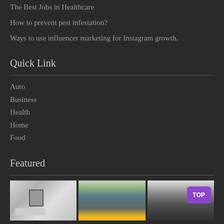The Best Jobs in Healthcare
How to prevent pest infestation?
Ways to use influencer marketing for Instagram growth.
Quick Link
Auto
Business
Health
Home
Food
Featured
[Figure (photo): Three featured images side by side: a bathroom interior, a blue corrugated building with tropical plants, and a city street scene. The city image has a purple TOP badge overlay.]